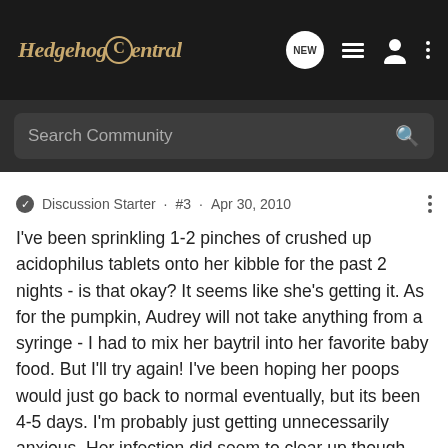[Figure (screenshot): Hedgehog Central website navigation bar with logo, NEW button, list icon, person icon, and more options dots]
[Figure (screenshot): Search Community search bar on dark background]
Discussion Starter · #3 · Apr 30, 2010
I've been sprinkling 1-2 pinches of crushed up acidophilus tablets onto her kibble for the past 2 nights - is that okay? It seems like she's getting it. As for the pumpkin, Audrey will not take anything from a syringe - I had to mix her baytril into her favorite baby food. But I'll try again! I've been hoping her poops would just go back to normal eventually, but its been 4-5 days. I'm probably just getting unnecessarily anxious. Her infection did seem to clear up though. She's not congested anymore - no sniffles, sneezing, or snotty noses etc.
Also, is the lack of wheeling/general exploring normal during quilling? She was such an adventurer when I first got her. I'm not sure if I should take that as an indication that something's